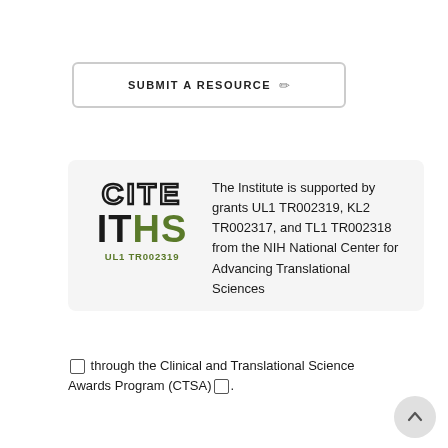[Figure (logo): SUBMIT A RESOURCE button with pencil icon, rounded border]
[Figure (logo): CITE ITHS UL1 TR002319 logo with outlined CITE text and green IT letters]
The Institute is supported by grants UL1 TR002319, KL2 TR002317, and TL1 TR002318 from the NIH National Center for Advancing Translational Sciences through the Clinical and Translational Science Awards Program (CTSA).